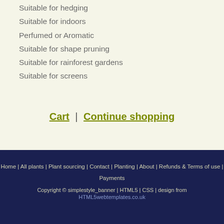Suitable for hedging
Suitable for indoors
Perfumed or Aromatic
Suitable for shape pruning
Suitable for rainforest gardens
Suitable for screens
Cart | Continue shopping
Home | All plants | Plant sourcing | Contact | Planting | About | Refunds & Terms of use | Payments
Copyright © simplestyle_banner | HTML5 | CSS | design from HTML5webtemplates.co.uk